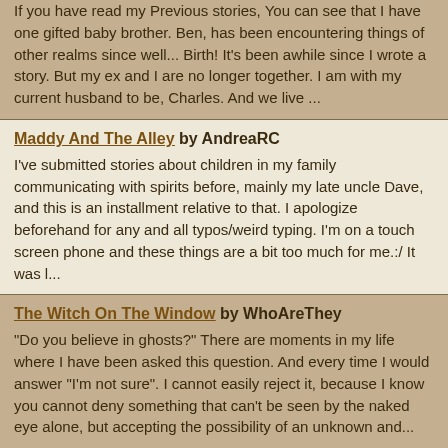If you have read my Previous stories, You can see that I have one gifted baby brother. Ben, has been encountering things of other realms since well... Birth! It's been awhile since I wrote a story. But my ex and I are no longer together. I am with my current husband to be, Charles. And we live ...
Maddy And The Alley by AndreaRC
I've submitted stories about children in my family communicating with spirits before, mainly my late uncle Dave, and this is an installment relative to that. I apologize beforehand for any and all typos/weird typing. I'm on a touch screen phone and these things are a bit too much for me.:/ It was l...
The Witch On The Window by WhoAreThey
"Do you believe in ghosts?" There are moments in my life where I have been asked this question. And every time I would answer "I'm not sure". I cannot easily reject it, because I know you cannot deny something that can't be seen by the naked eye alone, but accepting the possibility of an unknown and...
My Son Is Very Scared by CMAD_mama
Ever since my son was a baby he has been seeing and talking to something that we could not see. My son is now 3 years old...